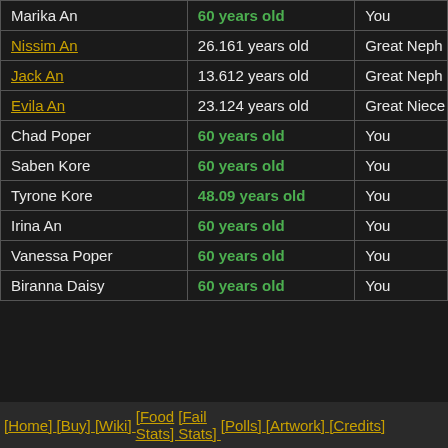| Name | Age | Relation |
| --- | --- | --- |
| Marika An | 60 years old | You |
| Nissim An | 26.161 years old | Great Neph |
| Jack An | 13.612 years old | Great Neph |
| Evila An | 23.124 years old | Great Niece |
| Chad Poper | 60 years old | You |
| Saben Kore | 60 years old | You |
| Tyrone Kore | 48.09 years old | You |
| Irina An | 60 years old | You |
| Vanessa Poper | 60 years old | You |
| Biranna Daisy | 60 years old | You |
[Home] [Buy] [Wiki] [Food Stats] [Fail Stats] [Polls] [Artwork] [Credits]